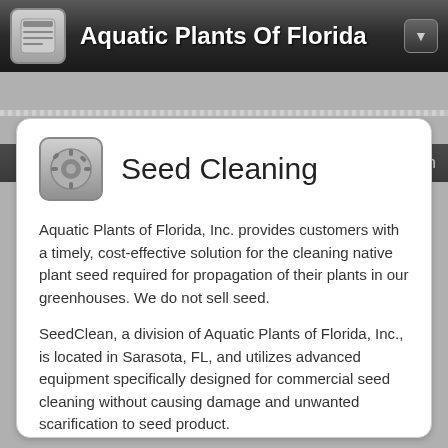Aquatic Plants Of Florida
Seed Cleaning
Aquatic Plants of Florida, Inc. provides customers with a timely, cost-effective solution for the cleaning native plant seed required for propagation of their plants in our greenhouses. We do not sell seed.
SeedClean, a division of Aquatic Plants of Florida, Inc., is located in Sarasota, FL, and utilizes advanced equipment specifically designed for commercial seed cleaning without causing damage and unwanted scarification to seed product.
Clean seed is essential for use in today’s mechanized liner seeding machines, which are prone to clogging from hull and chaff contaminants, a result of threshing.
Our labeled, vacuum packaging ensures your clean seeds are ready on-demand for contract growing at our facilities.
Our goal is provide customers with the cleanest seed possible in a packaging that facilitates easy storage and on-demand use. We also lease storage space to customers in our commercial refrigeration systems, which